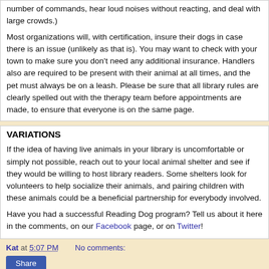number of commands, hear loud noises without reacting, and deal with large crowds.)
Most organizations will, with certification, insure their dogs in case there is an issue (unlikely as that is). You may want to check with your town to make sure you don't need any additional insurance. Handlers also are required to be present with their animal at all times, and the pet must always be on a leash. Please be sure that all library rules are clearly spelled out with the therapy team before appointments are made, to ensure that everyone is on the same page.
VARIATIONS
If the idea of having live animals in your library is uncomfortable or simply not possible, reach out to your local animal shelter and see if they would be willing to host library readers. Some shelters look for volunteers to help socialize their animals, and pairing children with these animals could be a beneficial partnership for everybody involved.
Have you had a successful Reading Dog program? Tell us about it here in the comments, on our Facebook page, or on Twitter!
Kat at 5:07 PM    No comments:
Share